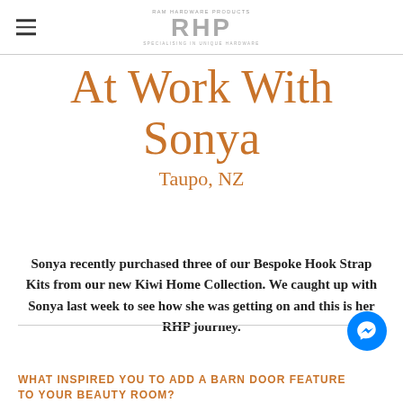RAM HARDWARE PRODUCTS RHP SPECIALISING IN UNIQUE HARDWARE
At Work With Sonya
Taupo, NZ
Sonya recently purchased three of our Bespoke Hook Strap Kits from our new Kiwi Home Collection. We caught up with Sonya last week to see how she was getting on and this is her RHP journey.
WHAT INSPIRED YOU TO ADD A BARN DOOR FEATURE TO YOUR BEAUTY ROOM?